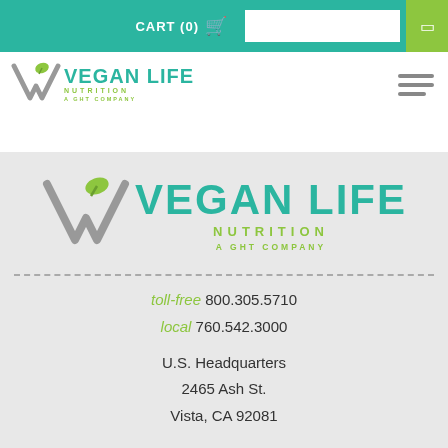CART (0)
[Figure (logo): Vegan Life Nutrition - A GHT Company logo, small version in top navigation bar]
[Figure (logo): Vegan Life Nutrition - A GHT Company logo, large centered version in gray content area]
toll-free 800.305.5710
local 760.542.3000

U.S. Headquarters
2465 Ash St.
Vista, CA 92081